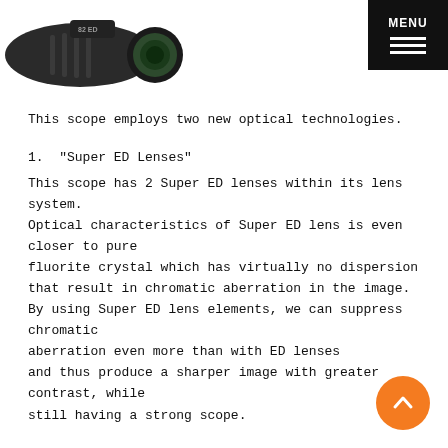[Figure (photo): Partial view of a spotting scope lens, dark colored, shown in upper left corner of page]
This scope employs two new optical technologies.
1.  “Super ED Lenses”
This scope has 2 Super ED lenses within its lens system. Optical characteristics of Super ED lens is even closer to pure fluorite crystal which has virtually no dispersion that result in chromatic aberration in the image. By using Super ED lens elements, we can suppress chromatic aberration even more than with ED lenses and thus produce a sharper image with greater contrast, while still having a strong scope.